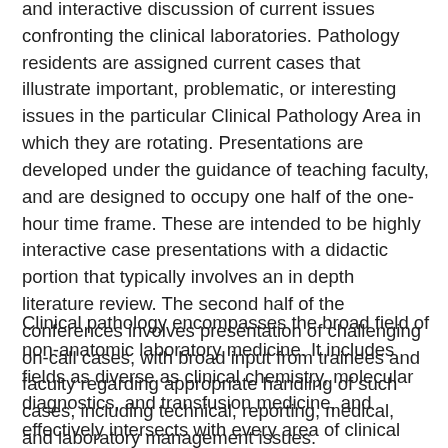and interactive discussion of current issues confronting the clinical laboratories. Pathology residents are assigned current cases that illustrate important, problematic, or interesting issues in the particular Clinical Pathology Area in which they are rotating. Presentations are developed under the guidance of teaching faculty, and are designed to occupy one half of the one-hour time frame. These are intended to be highly interactive case presentations with a didactic portion that typically involves an in depth literature review. The second half of the conferences involves presentation of challenging on-call cases, with broad input from trainees and faculty regarding appropriate handling of such cases, including technical, reporting, medical, and laboratory management issues.
Clinical pathology encompasses the broad field of non-anatomic laboratory medicine. It includes fields as diverse as clinical chemistry, molecular diagnostics, and transfusion medicine, and effectively intersects with every area of clinical medicine. As such, the volume of information needed to competently practice clinical